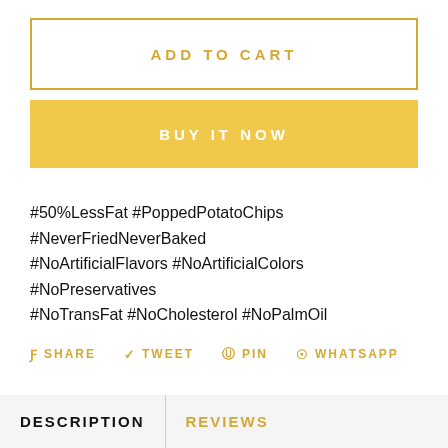ADD TO CART
BUY IT NOW
#50%LessFat #PoppedPotatoChips #NeverFriedNeverBaked #NoArtificialFlavors #NoArtificialColors #NoPreservatives #NoTransFat #NoCholesterol #NoPalmOil
SHARE   TWEET   PIN   WHATSAPP
DESCRIPTION   REVIEWS